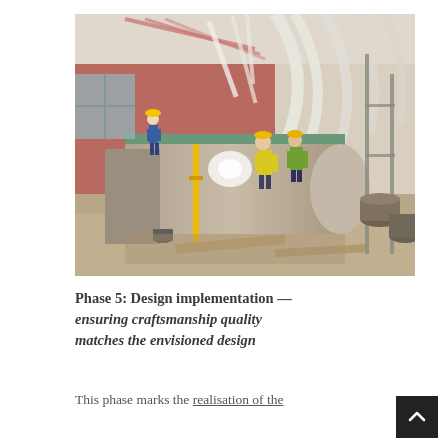[Figure (photo): Construction site interior showing workers in yellow high-visibility vests and hard hats building a curved structure. Scaffolding visible on the right, pink/red walls, white arched ceiling beams overhead. Construction materials and equipment scattered on the floor.]
Phase 5: Design implementation — ensuring craftsmanship quality matches the envisioned design
This phase marks the realisation of the